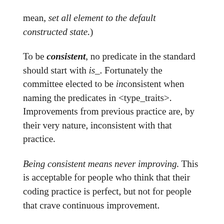mean, set all element to the default constructed state.)
To be consistent, no predicate in the standard should start with is_. Fortunately the committee elected to be inconsistent when naming the predicates in <type_traits>. Improvements from previous practice are, by their very nature, inconsistent with that practice.
Being consistent means never improving. This is acceptable for people who think that their coding practice is perfect, but not for people that crave continuous improvement.